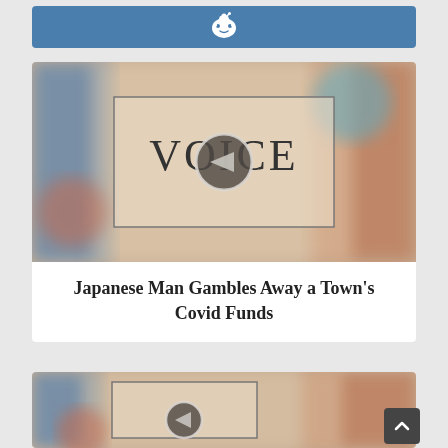[Figure (logo): Reddit logo icon (alien) on blue banner background]
[Figure (screenshot): Blurred colorful background with a video player overlay showing VOICE logo and a play/pause button]
Japanese Man Gambles Away a Town's Covid Funds
[Figure (screenshot): Blurred colorful background with partial video player overlay, partially visible at bottom of page]
[Figure (other): Back to top button (chevron up icon on dark background)]